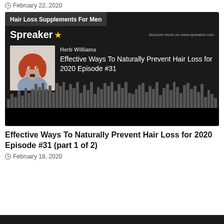February 22, 2020
[Figure (screenshot): Spreaker podcast player embed showing 'Hair Loss Supplements For Men' with episode 'Herb Williams - Effective Ways To Naturally Prevent Hair Loss for 2020 Episode #31', audio waveform visualization, thumbnail image of red-haired woman.]
Effective Ways To Naturally Prevent Hair Loss for 2020 Episode #31 (part 1 of 2)
February 18, 2020